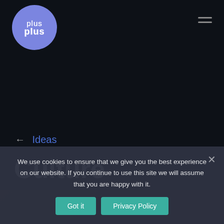[Figure (logo): PlusPlus logo — blue/purple circle with 'plus' text in two lines, outline style]
← Ideas
Culture
[Figure (photo): Partial bottom image, dark brown/wood tones, partially obscured by cookie overlay]
We use cookies to ensure that we give you the best experience on our website. If you continue to use this site we will assume that you are happy with it.
Got it   Privacy Policy